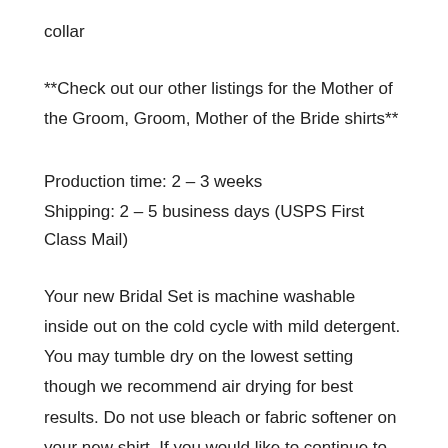collar
**Check out our other listings for the Mother of the Groom, Groom, Mother of the Bride shirts**
Production time: 2 – 3 weeks
Shipping: 2 – 5 business days (USPS First Class Mail)
Your new Bridal Set is machine washable inside out on the cold cycle with mild detergent. You may tumble dry on the lowest setting though we recommend air drying for best results. Do not use bleach or fabric softener on your new shirt. If you would like to continue to shop for more Outdoorsy clothing including Hipster shirts, Camping and Adventurer shirts, or Urban Style shirts you may return to